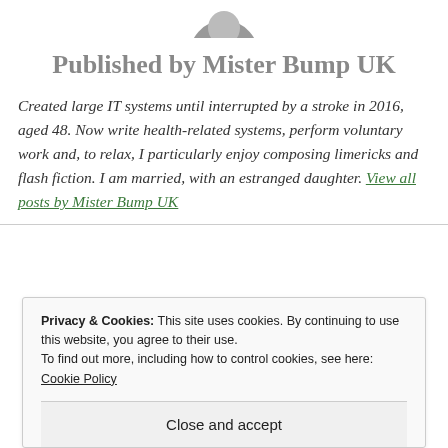[Figure (photo): Partial avatar/profile photo cropped at top]
Published by Mister Bump UK
Created large IT systems until interrupted by a stroke in 2016, aged 48. Now write health-related systems, perform voluntary work and, to relax, I particularly enjoy composing limericks and flash fiction. I am married, with an estranged daughter. View all posts by Mister Bump UK
Privacy & Cookies: This site uses cookies. By continuing to use this website, you agree to their use. To find out more, including how to control cookies, see here: Cookie Policy
Close and accept